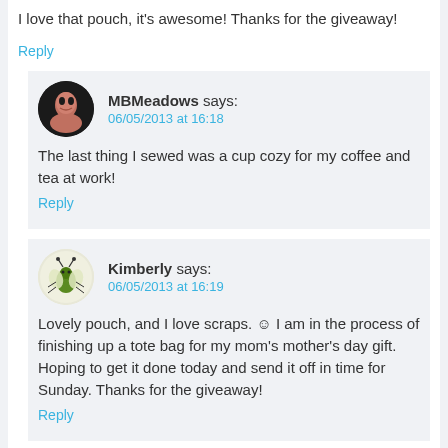I love that pouch, it's awesome! Thanks for the giveaway!
Reply
[Figure (illustration): Round avatar photo of MBMeadows, a woman with dark hair against dark background]
MBMeadows says: 06/05/2013 at 16:18
The last thing I sewed was a cup cozy for my coffee and tea at work!
Reply
[Figure (illustration): Round avatar illustration of Kimberly, a cartoon green bug/grasshopper character on light background]
Kimberly says: 06/05/2013 at 16:19
Lovely pouch, and I love scraps. ☺ I am in the process of finishing up a tote bag for my mom's mother's day gift. Hoping to get it done today and send it off in time for Sunday. Thanks for the giveaway!
Reply